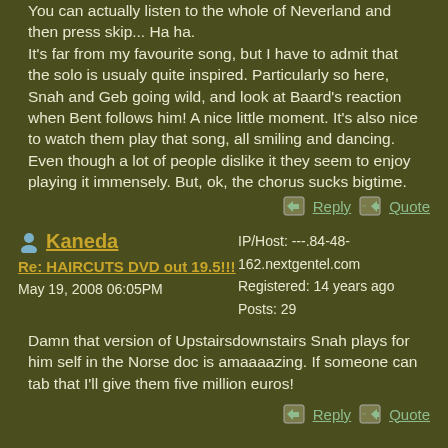You can actually listen to the whole of Neverland and then press skip... Ha ha. It's far from my favourite song, but I have to admit that the solo is usualy quite inspired. Particularly so here, Snah and Geb going wild, and look at Baard's reaction when Bent follows him! A nice little moment. It's also nice to watch them play that song, all smiling and dancing. Even though a lot of people dislike it they seem to enjoy playing it immensely. But, ok, the chorus sucks bigtime.
Reply   Quote
Kaneda
IP/Host: ---.84-48-162.nextgentel.com
Registered: 14 years ago
Posts: 29
Re: HAIRCUTS DVD out 19.5!!!
May 19, 2008 06:05PM
Damn that version of Upstairsdownstairs Snah plays for him self in the Norse doc is amaaaazing. If someone can tab that I'll give them five million euros!
Reply   Quote
IP/Host: ---.215.3.127.getinternet.no